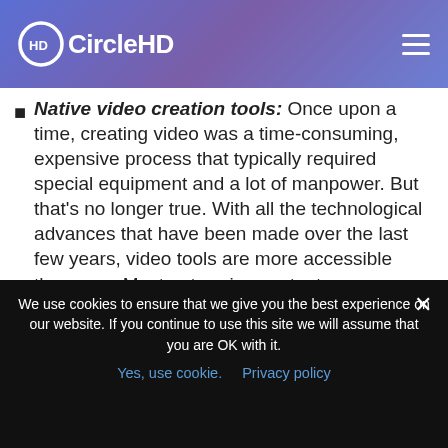CircleHD
Native video creation tools: Once upon a time, creating video was a time-consuming, expensive process that typically required special equipment and a lot of manpower. But that's no longer true. With all the technological advances that have been made over the last few years, video tools are more accessible than ever. Most enterprise content management systems have built-in recording tools that let you quickly capture video or screen shares directly from your portal, cutting down on the time it takes to get your content live.
We use cookies to ensure that we give you the best experience on our website. If you continue to use this site we will assume that you are OK with it.
Yes, use cookie.   Privacy policy